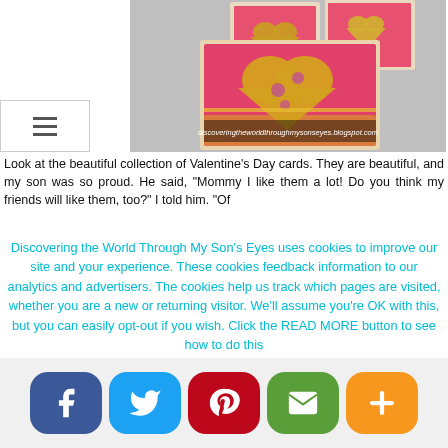[Figure (photo): Valentine's Day cards with gold glitter hearts on red paper, laid on a table. Watermark: discoveringtheworldthroughmysonseyes.blogspot.com]
Look at the beautiful collection of Valentine’s Day cards. They are beautiful, and my son was so proud. He said, “Mommy I like them a lot! Do you think my friends will like them, too?” I told him. “Of
Discovering the World Through My Son's Eyes uses cookies to improve our site and your experience. These cookies feedback information to our analytics and advertisers. The cookies help us track which pages are visited, whether you are a new or returning visitor. We’ll assume you’re OK with this, but you can easily opt-out if you wish. Click the READ MORE button to see how to do this